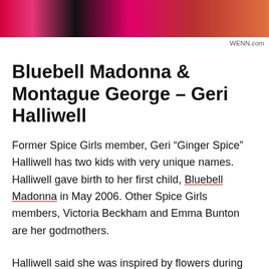[Figure (photo): Partial photo of people wearing bright pink, red and orange clothing, cropped at top of page]
WENN.com
Bluebell Madonna & Montague George – Geri Halliwell
Former Spice Girls member, Geri “Ginger Spice” Halliwell has two kids with very unique names. Halliwell gave birth to her first child, Bluebell Madonna in May 2006. Other Spice Girls members, Victoria Beckham and Emma Bunton are her godmothers.
Halliwell said she was inspired by flowers during